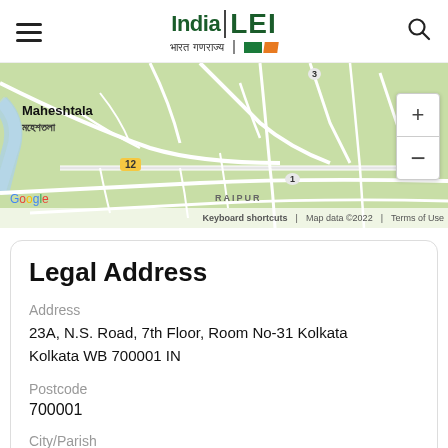India LEI – भारत गणराज्य
[Figure (map): Google Map showing Maheshtala / মহেশতলা area near Kolkata with road networks, badges for routes 12, 1, and 3, zoom controls, and map footer with Keyboard shortcuts, Map data ©2022, Terms of Use]
Legal Address
Address
23A, N.S. Road, 7th Floor, Room No-31 Kolkata Kolkata WB 700001 IN
Postcode
700001
City/Parish
Kolkata